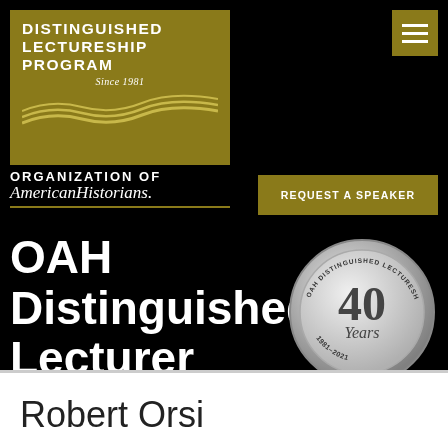[Figure (logo): Distinguished Lectureship Program Since 1981 logo on olive/gold background with wave lines]
[Figure (logo): Hamburger menu icon on olive/gold square background]
ORGANIZATION OF AmericanHistorians.
REQUEST A SPEAKER
OAH Distinguished Lecturer Profile
[Figure (illustration): Silver medallion showing '40 Years 1981-2021 OAH Distinguished Lectureship Program']
Robert Orsi